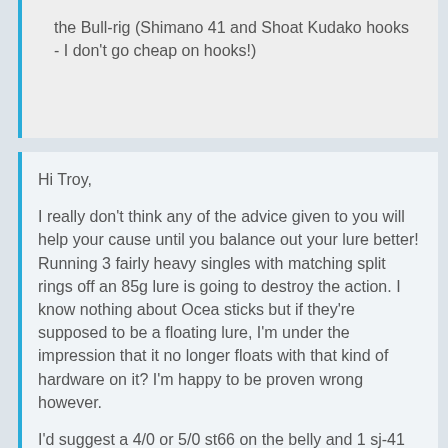the Bull-rig (Shimano 41 and Shoat Kudako hooks - I don't go cheap on hooks!)
Hi Troy,
I really don't think any of the advice given to you will help your cause until you balance out your lure better! Running 3 fairly heavy singles with matching split rings off an 85g lure is going to destroy the action. I know nothing about Ocea sticks but if they're supposed to be a floating lure, I'm under the impression that it no longer floats with that kind of hardware on it? I'm happy to be proven wrong however.
I'd suggest a 4/0 or 5/0 st66 on the belly and 1 sj-41 off the back in 7/0, maybe 9/0 max. The fish your likely to encounter off the rocks in that part of the world don't need massive